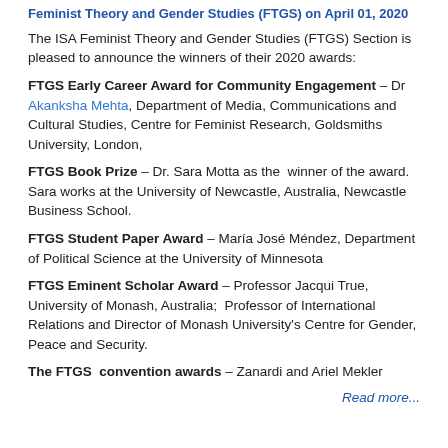Feminist Theory and Gender Studies (FTGS) on April 01, 2020
The ISA Feminist Theory and Gender Studies (FTGS) Section is pleased to announce the winners of their 2020 awards:
FTGS Early Career Award for Community Engagement – Dr Akanksha Mehta, Department of Media, Communications and Cultural Studies, Centre for Feminist Research, Goldsmiths University, London,
FTGS Book Prize – Dr. Sara Motta as the winner of the award. Sara works at the University of Newcastle, Australia, Newcastle Business School.
FTGS Student Paper Award – María José Méndez, Department of Political Science at the University of Minnesota
FTGS Eminent Scholar Award – Professor Jacqui True, University of Monash, Australia; Professor of International Relations and Director of Monash University's Centre for Gender, Peace and Security.
The FTGS convention awards – Zanardi and Ariel Mekler
Read more...